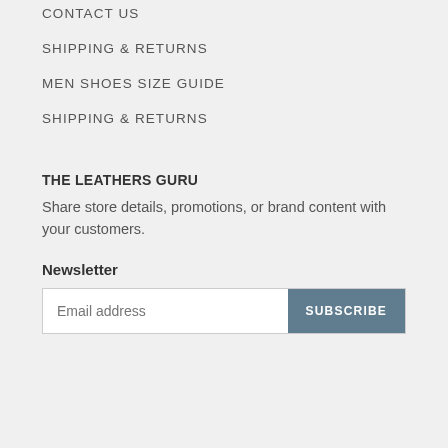CONTACT US
SHIPPING & RETURNS
MEN SHOES SIZE GUIDE
SHIPPING & RETURNS
THE LEATHERS GURU
Share store details, promotions, or brand content with your customers.
Newsletter
Email address  SUBSCRIBE